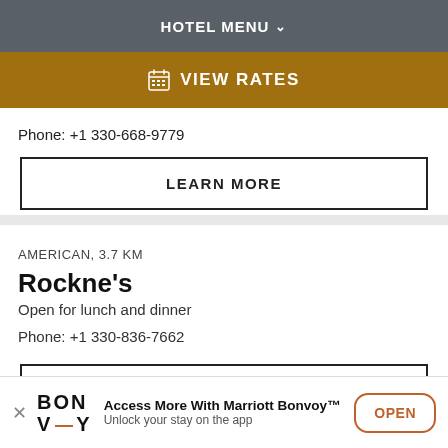HOTEL MENU
VIEW RATES
Phone: +1 330-668-9779
LEARN MORE
AMERICAN, 3.7 KM
Rockne's
Open for lunch and dinner
Phone: +1 330-836-7662
LEARN MORE
Access More With Marriott Bonvoy™ Unlock your stay on the app
OPEN